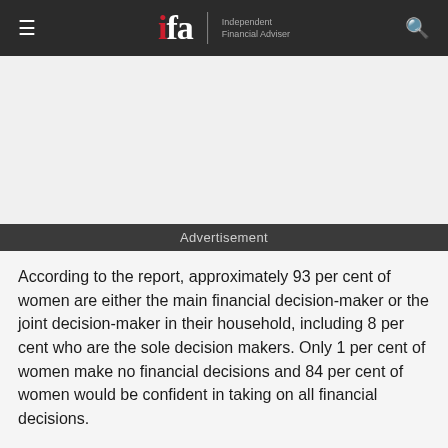ifa Independent Financial Adviser
[Figure (other): Advertisement placeholder area (blank grey rectangle)]
Advertisement
According to the report, approximately 93 per cent of women are either the main financial decision-maker or the joint decision-maker in their household, including 8 per cent who are the sole decision makers. Only 1 per cent of women make no financial decisions and 84 per cent of women would be confident in taking on all financial decisions.